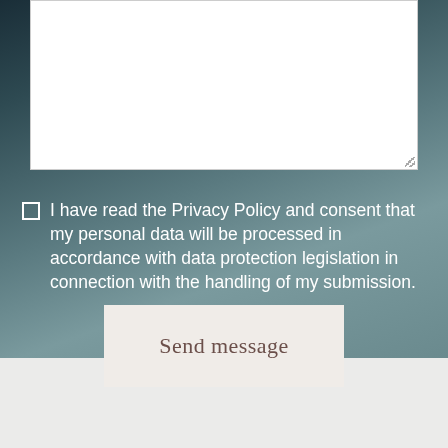[Figure (screenshot): A web form section showing: a white textarea input box at top with a resize handle in the bottom-right corner, a privacy policy consent checkbox with text on a dark blue-grey blurred background, and a 'Send message' button on a light beige background. The lower portion of the page is a light grey/beige color.]
I have read the Privacy Policy and consent that my personal data will be processed in accordance with data protection legislation in connection with the handling of my submission.